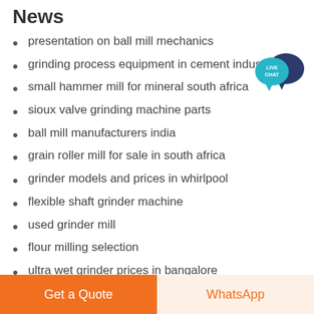News
presentation on ball mill mechanics
grinding process equipment in cement industry
small hammer mill for mineral south africa
sioux valve grinding machine parts
ball mill manufacturers india
grain roller mill for sale in south africa
grinder models and prices in whirlpool
flexible shaft grinder machine
used grinder mill
flour milling selection
ultra wet grinder prices in bangalore
machinery required for tire grinding
[Figure (illustration): Live Chat speech bubble badge with teal/dark blue colors and white text]
Get a Quote
WhatsApp